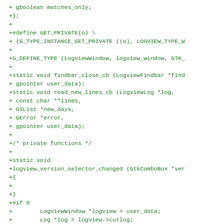Code diff showing C source additions including gboolean matches_only, GET_PRIVATE macro, G_DEFINE_TYPE, static function declarations for findbar_close_cb and read_new_lines_cb, private functions comment, logview_version_selector_changed function stub, and #if 0 block with LogviewWindow, Log, int variable declarations and g_assert call.